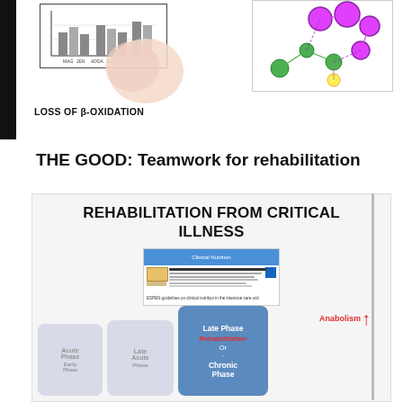[Figure (illustration): Top portion showing two figures: left side shows 'LOSS OF β-OXIDATION' diagram with a chart and a peach/cream colored blob shape; right side shows 'PASTEUR EFFECT' diagram with a network graph of magenta and green nodes.]
LOSS OF β-OXIDATION
PASTEUR EFFECT
THE GOOD: Teamwork for rehabilitation
[Figure (illustration): Card titled 'REHABILITATION FROM CRITICAL ILLNESS' showing a journal article thumbnail (Clinical Nutrition, ESPEN guidelines on clinical nutrition in the intensive care unit) and phase boxes representing early, late, and chronic phases of critical illness rehabilitation, with an anabolism arrow pointing upward and a highlighted blue box for 'Late Phase Rehabilitation Or Chronic Phase'.]